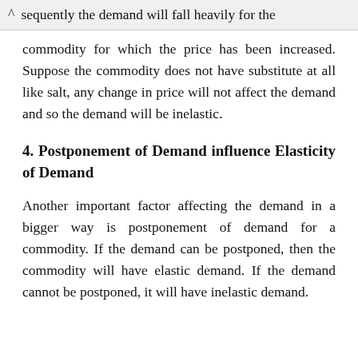^ sequently the demand will fall heavily for the commodity for which the price has been increased. Suppose the commodity does not have substitute at all like salt, any change in price will not affect the demand and so the demand will be inelastic.
4. Postponement of Demand influence Elasticity of Demand
Another important factor affecting the demand in a bigger way is postponement of demand for a commodity. If the demand can be postponed, then the commodity will have elastic demand. If the demand cannot be postponed, it will have inelastic demand.